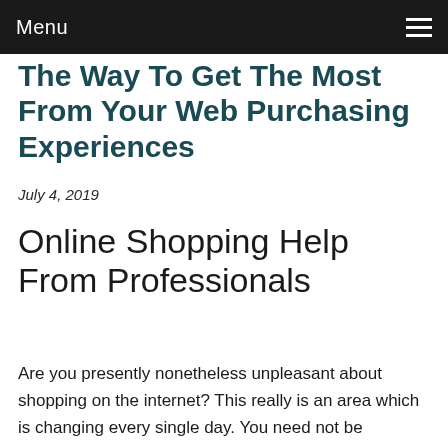Menu
The Way To Get The Most From Your Web Purchasing Experiences
July 4, 2019
Online Shopping Help From Professionals
Are you presently nonetheless unpleasant about shopping on the internet? This really is an area which is changing every single day. You need not be anxious,